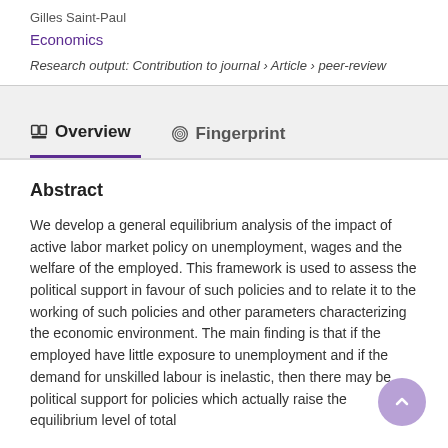Gilles Saint-Paul
Economics
Research output: Contribution to journal › Article › peer-review
Overview
Fingerprint
Abstract
We develop a general equilibrium analysis of the impact of active labor market policy on unemployment, wages and the welfare of the employed. This framework is used to assess the political support in favour of such policies and to relate it to the working of such policies and other parameters characterizing the economic environment. The main finding is that if the employed have little exposure to unemployment and if the demand for unskilled labour is inelastic, then there may be political support for policies which actually raise the equilibrium level of total